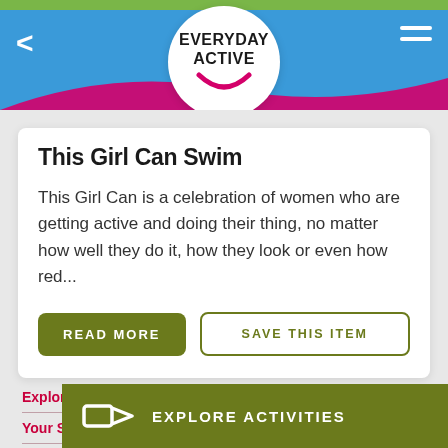Everyday Active
This Girl Can Swim
This Girl Can is a celebration of women who are getting active and doing their thing, no matter how well they do it, how they look or even how red...
READ MORE
SAVE THIS ITEM
Menu
Social
Explore Activities
Your Stories
Hints & Tips
EXPLORE ACTIVITIES